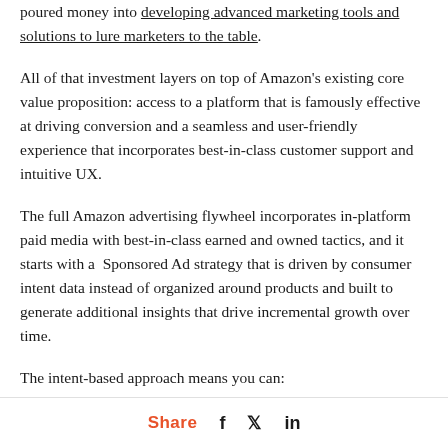poured money into developing advanced marketing tools and solutions to lure marketers to the table.
All of that investment layers on top of Amazon's existing core value proposition: access to a platform that is famously effective at driving conversion and a seamless and user-friendly experience that incorporates best-in-class customer support and intuitive UX.
The full Amazon advertising flywheel incorporates in-platform paid media with best-in-class earned and owned tactics, and it starts with a  Sponsored Ad strategy that is driven by consumer intent data instead of organized around products and built to generate additional insights that drive incremental growth over time.
The intent-based approach means you can:
Test hundreds of products against thousands of
Share  f  t  in